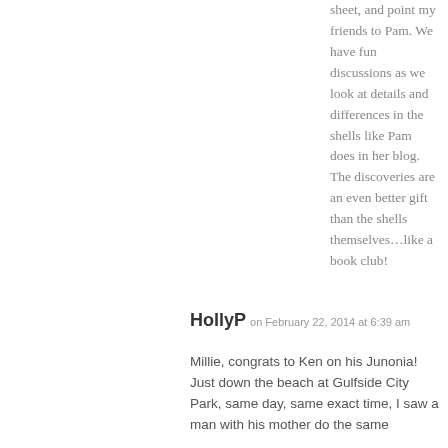sheet, and point my friends to Pam. We have fun discussions as we look at details and differences in the shells like Pam does in her blog. The discoveries are an even better gift than the shells themselves...like a book club!
HollyP on February 22, 2014 at 6:39 am
Millie, congrats to Ken on his Junonia! Just down the beach at Gulfside City Park, same day, same exact time, I saw a man with his mother do the same